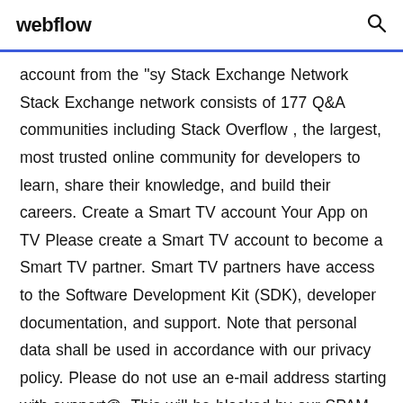webflow [search icon]
account from the "sy Stack Exchange Network Stack Exchange network consists of 177 Q&A communities including Stack Overflow , the largest, most trusted online community for developers to learn, share their knowledge, and build their careers. Create a Smart TV account Your App on TV Please create a Smart TV account to become a Smart TV partner. Smart TV partners have access to the Software Development Kit (SDK), developer documentation, and support. Note that personal data shall be used in accordance with our privacy policy. Please do not use an e-mail address starting with support@. This will be blocked by our SPAM filter. First name S...